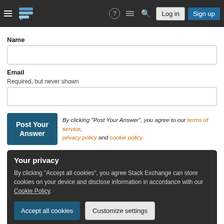[Figure (screenshot): Stack Exchange website navigation header with hamburger menu, logo, icons, Login and Sign Up buttons]
Name
[Figure (other): Empty text input field for Name]
Email
Required, but never shown
[Figure (other): Empty text input field for Email]
By clicking “Post Your Answer”, you agree to our terms of service, privacy policy and cookie policy
Your privacy
By clicking “Accept all cookies”, you agree Stack Exchange can store cookies on your device and disclose information in accordance with our Cookie Policy.
Recent site instability, major outages – July/August 2022